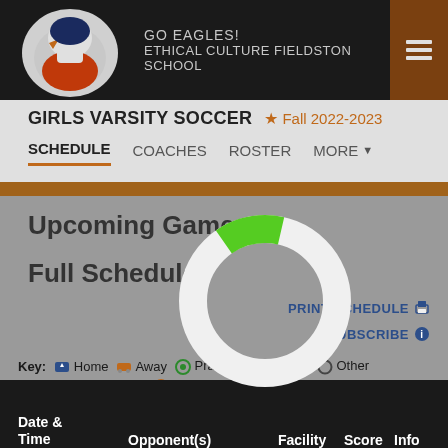GO EAGLES! ETHICAL CULTURE FIELDSTON SCHOOL
GIRLS VARSITY SOCCER  Fall 2022-2023
SCHEDULE   COACHES   ROSTER   MORE
Upcoming Games
Full Schedule
[Figure (donut-chart): A loading/progress donut chart showing a small green segment (approximately 10-15%) against a white ring on a gray background, indicating partial completion of schedule loading.]
PRINT SCHEDULE
SUBSCRIBE
Key: Home  Away  Practice  School  Other  Scrimmage  Postponed  Cancelled
| Date & Time | Opponent(s) | Facility | Score | Info |
| --- | --- | --- | --- | --- |